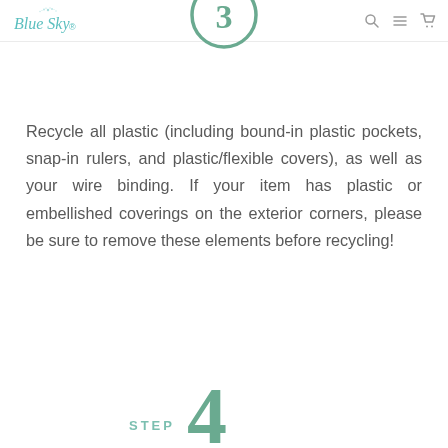Blue Sky. [navigation icons: search, menu, cart]
[Figure (illustration): Partial green circle with number 3 inside, cropped at top of content area]
Recycle all plastic (including bound-in plastic pockets, snap-in rulers, and plastic/flexible covers), as well as your wire binding. If your item has plastic or embellished coverings on the exterior corners, please be sure to remove these elements before recycling!
[Figure (illustration): STEP 4 label with large green numeral 4]